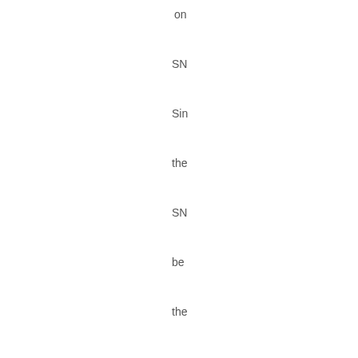on
SN
Sin
the
SN
be
the
fas
gro
me
bu
rea
the
$1
Bill
dol
an